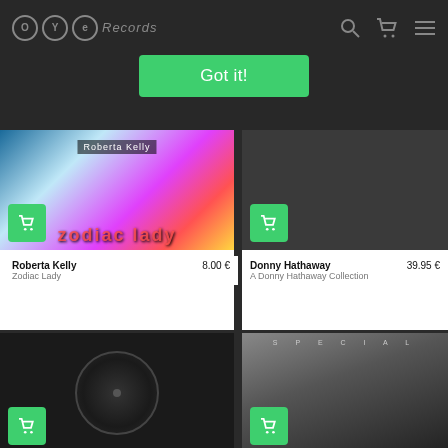OYE Records
[Figure (screenshot): Got it! green button overlay on record store website]
[Figure (photo): Roberta Kelly - Zodiac Lady album cover with colorful mosaic art]
Roberta Kelly  8.00 €
Zodiac Lady
[Figure (photo): Donny Hathaway - A Donny Hathaway Collection album cover, dark background]
Donny Hathaway  39.95 €
A Donny Hathaway Collection
[Figure (photo): Black vinyl record on dark background]
[Figure (photo): Special - album cover with woman in sequined headwear, black and white]